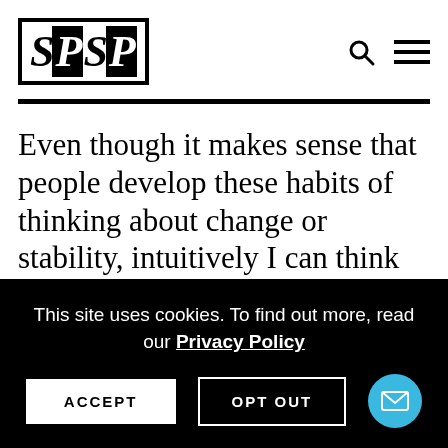[Figure (logo): SPSP logo with serif bold italic letters, alternating black-on-white and white-on-black blocks]
Even though it makes sense that people develop these habits of thinking about change or stability, intuitively I can think of cases where my own theories flip-flop. I'm an incremental theorist much of the
This site uses cookies. To find out more, read our Privacy Policy
ACCEPT
OPT OUT